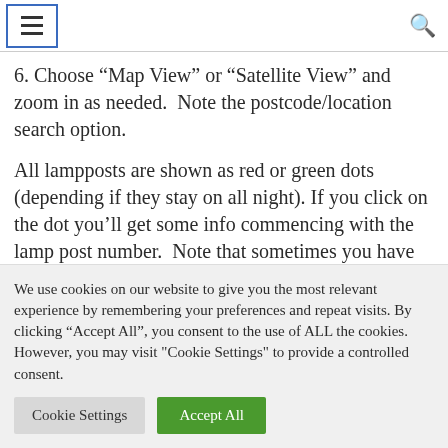≡  🔍
6. Choose “Map View” or “Satellite View” and zoom in as needed.  Note the postcode/location search option.
All lampposts are shown as red or green dots (depending if they stay on all night). If you click on the dot you’ll get some info commencing with the lamp post number.  Note that sometimes you have to click
We use cookies on our website to give you the most relevant experience by remembering your preferences and repeat visits. By clicking “Accept All”, you consent to the use of ALL the cookies. However, you may visit "Cookie Settings" to provide a controlled consent.
Cookie Settings   Accept All